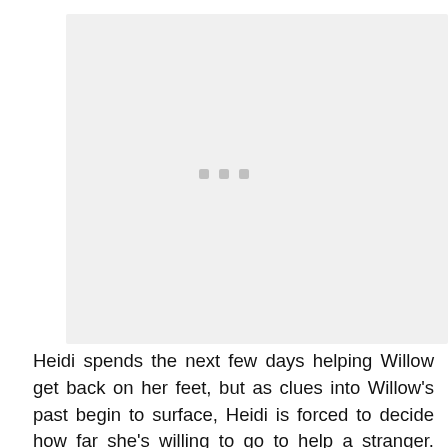[Figure (other): Large light gray rectangular placeholder image area with three small gray square dots centered in the middle]
Heidi spends the next few days helping Willow get back on her feet, but as clues into Willow's past begin to surface, Heidi is forced to decide how far she's willing to go to help a stranger. What starts as an act of kindness quickly spirals into a story far more twisted than anyone could have anticipated.